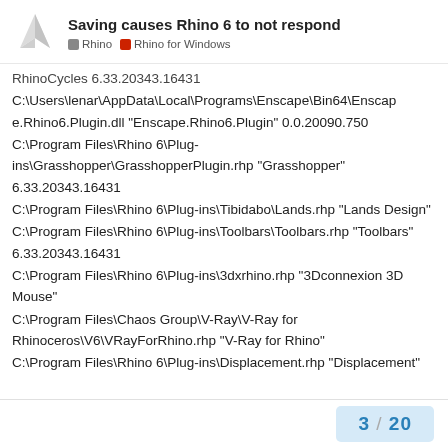Saving causes Rhino 6 to not respond | Rhino | Rhino for Windows
RhinoCycles 6.33.20343.16431
C:\Users\lenar\AppData\Local\Programs\Enscape\Bin64\Enscape.Rhino6.Plugin.dll "Enscape.Rhino6.Plugin" 0.0.20090.750
C:\Program Files\Rhino 6\Plug-ins\Grasshopper\GrasshopperPlugin.rhp "Grasshopper" 6.33.20343.16431
C:\Program Files\Rhino 6\Plug-ins\Tibidabo\Lands.rhp "Lands Design"
C:\Program Files\Rhino 6\Plug-ins\Toolbars\Toolbars.rhp "Toolbars" 6.33.20343.16431
C:\Program Files\Rhino 6\Plug-ins\3dxrhino.rhp "3Dconnexion 3D Mouse"
C:\Program Files\Chaos Group\V-Ray\V-Ray for Rhinoceros\V6\VRayForRhino.rhp "V-Ray for Rhino"
C:\Program Files\Rhino 6\Plug-ins\Displacement.rhp "Displacement"
3 / 20